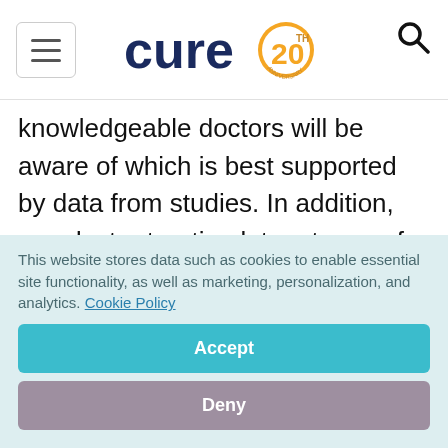CURE 20TH ANNIVERSARY
knowledgeable doctors will be aware of which is best supported by data from studies. In addition, any doctor treating later stages of the disease should be aware of the need to test patients for mutations that could make them eligible for targeted therapies. It can also help if doctors are acquainted with clinical trials for which patients might be eligible.
This website stores data such as cookies to enable essential site functionality, as well as marketing, personalization, and analytics. Cookie Policy
Accept
Deny